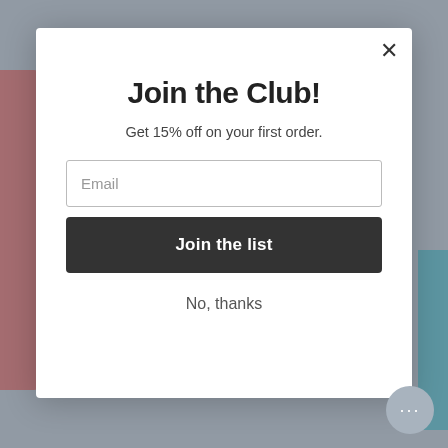[Figure (screenshot): Website background visible behind modal overlay showing partial red sidebar, teal right element, and page content]
Join the Club!
Get 15% off on your first order.
Email
Join the list
No, thanks